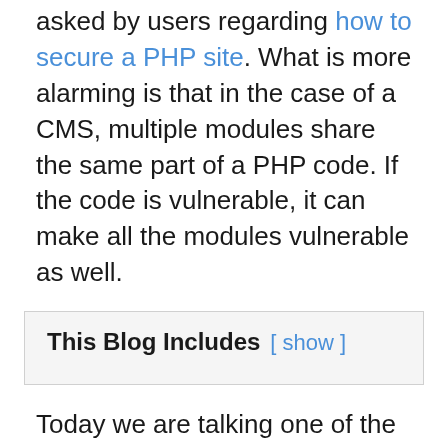asked by users regarding how to secure a PHP site. What is more alarming is that in the case of a CMS, multiple modules share the same part of a PHP code. If the code is vulnerable, it can make all the modules vulnerable as well.
This Blog Includes [ show ]
Today we are talking one of the biggest woes of the PHP mechanism – Cross-Site request forgery. We will learn how to secure a PHP CSRF protection through secure development practices.
For PHP, the most popular web develop